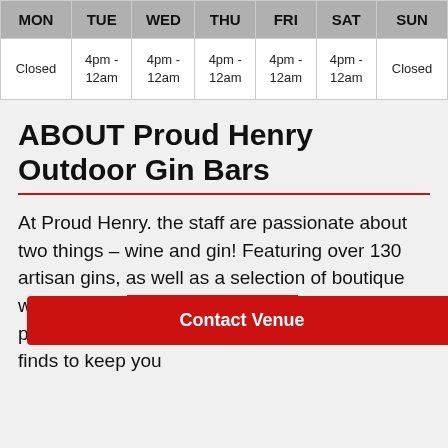| MON | TUE | WED | THU | FRI | SAT | SUN |
| --- | --- | --- | --- | --- | --- | --- |
| Closed | 4pm -
12am | 4pm -
12am | 4pm -
12am | 4pm -
12am | 4pm -
12am | Closed |
ABOUT Proud Henry Outdoor Gin Bars
At Proud Henry. the staff are passionate about two things – wine and gin! Featuring over 130 artisan gins, as well as a selection of boutique wines from A[...] they have the perfect [...] favourites and new exciting finds to keep you